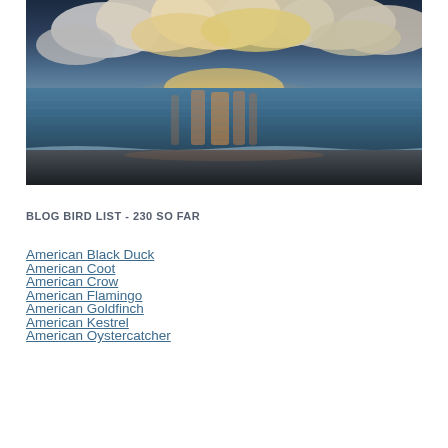[Figure (photo): Sunset over calm ocean beach with reflective water and dramatic clouds in sky]
BLOG BIRD LIST - 230 SO FAR
American Black Duck
American Coot
American Crow
American Flamingo
American Goldfinch
American Kestrel
American Oystercatcher